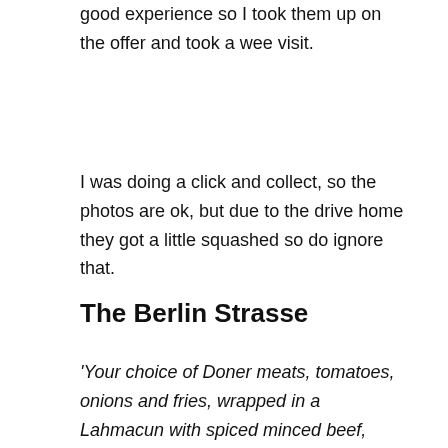good experience so I took them up on the offer and took a wee visit.
I was doing a click and collect, so the photos are ok, but due to the drive home they got a little squashed so do ignore that.
The Berlin Strasse
'Your choice of Doner meats, tomatoes, onions and fries, wrapped in a Lahmacun with spiced minced beef, lemon and parsley' Served with our yogurt signature sauce